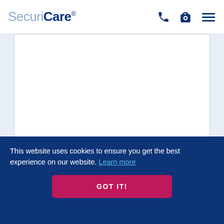SecuriCare
[Figure (screenshot): Large white text input/textarea box for entering a comment]
ADD COMMENT
This site is protected by reCAPTCHA and the Google
This website uses cookies to ensure you get the best experience on our website. Learn more
GOT IT!